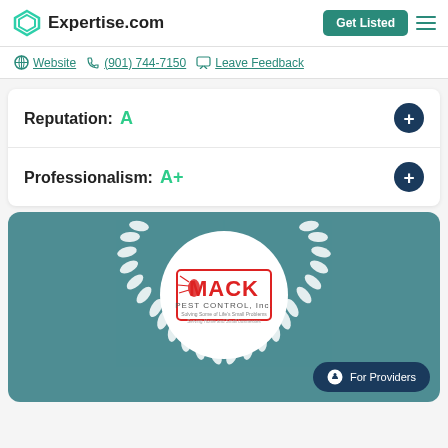Expertise.com
Website  (901) 744-7150  Leave Feedback
Reputation: A
Professionalism: A+
[Figure (logo): Mack Pest Control logo centered in white circle with laurel wreath on teal background, with 'For Providers' button overlay]